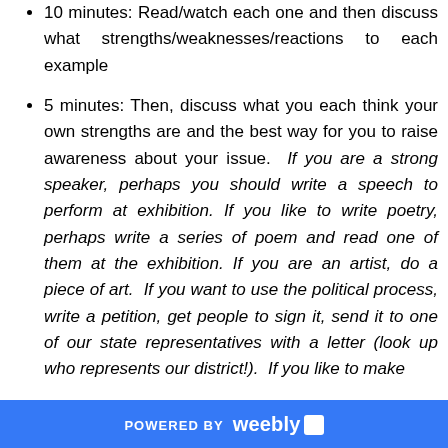10 minutes: Read/watch each one and then discuss what strengths/weaknesses/reactions to each example
5 minutes: Then, discuss what you each think your own strengths are and the best way for you to raise awareness about your issue. If you are a strong speaker, perhaps you should write a speech to perform at exhibition. If you like to write poetry, perhaps write a series of poem and read one of them at the exhibition. If you are an artist, do a piece of art. If you want to use the political process, write a petition, get people to sign it, send it to one of our state representatives with a letter (look up who represents our district!). If you like to make
POWERED BY weebly